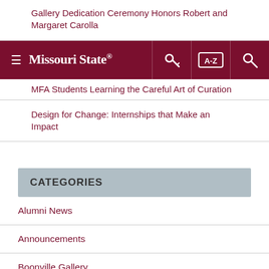Gallery Dedication Ceremony Honors Robert and Margaret Carolla
Missouri State (navigation bar with hamburger menu, key icon, A-Z index, and search)
MFA Students Learning the Careful Art of Curation
Design for Change: Internships that Make an Impact
CATEGORIES
Alumni News
Announcements
Boonville Gallery
Brick City Gallery